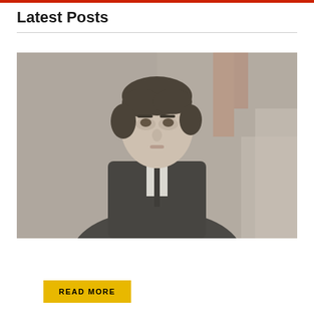Latest Posts
[Figure (photo): A man in a dark suit and tie looking upward, photographed outdoors with blurred industrial background. The image is desaturated/muted in tone.]
1  Elon Musk Buys Twitter in $44 Billion Deal
READ MORE